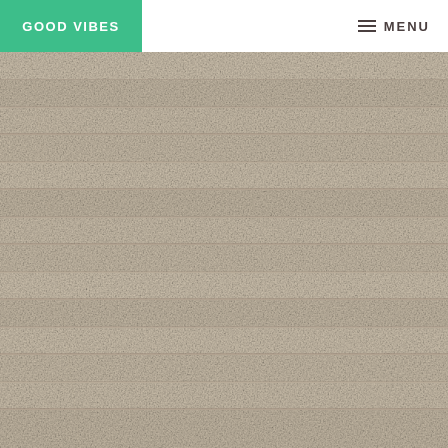GOOD VIBES | MENU
[Figure (photo): Close-up photograph of layered cardboard or corrugated paper texture with horizontal ridges and a beige/tan color, filling most of the page below the navigation header.]